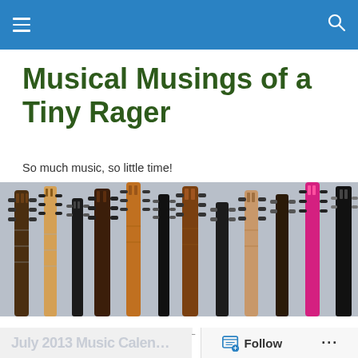Musical Musings of a Tiny Rager [navigation bar]
Musical Musings of a Tiny Rager
So much music, so little time!
[Figure (photo): Multiple electric and acoustic guitar necks/headstocks arranged upright against a light grey background, various colors and styles including brown, black, white, sunburst, and pink guitars.]
TAGGED WITH ARTURO O'FARRILL
July 2013 Music Calen…
Follow ...